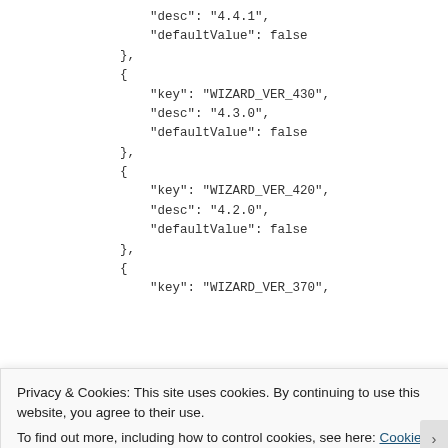"desc": "4.4.1",
"defaultValue": false
},
{
    "key": "WIZARD_VER_430",
    "desc": "4.3.0",
    "defaultValue": false
},
{
    "key": "WIZARD_VER_420",
    "desc": "4.2.0",
    "defaultValue": false
},
{
    "key": "WIZARD_VER_370",
Privacy & Cookies: This site uses cookies. By continuing to use this website, you agree to their use.
To find out more, including how to control cookies, see here: Cookie Policy